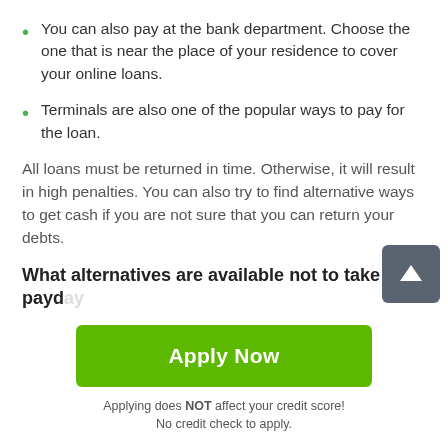You can also pay at the bank department. Choose the one that is near the place of your residence to cover your online loans.
Terminals are also one of the popular ways to pay for the loan.
All loans must be returned in time. Otherwise, it will result in high penalties. You can also try to find alternative ways to get cash if you are not sure that you can return your debts.
What alternatives are available not to take payday loans Paoli online?
As the loaners claim, it's more advantageous to take 24
Apply Now
Applying does NOT affect your credit score!
No credit check to apply.